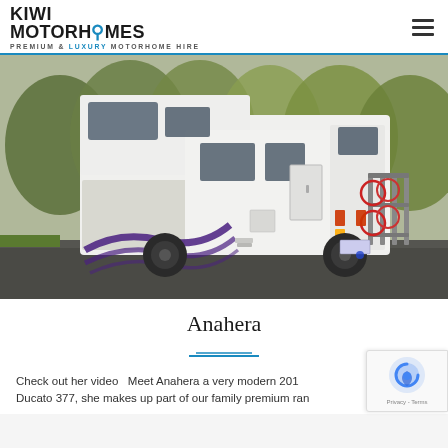KIWI MOTORHOMES — PREMIUM & LUXURY MOTORHOME HIRE
[Figure (photo): Rear three-quarter view of a white Kiwi Motorhomes Ducato motorhome in a car park with autumn trees in the background. The vehicle has purple decorative swirl graphics, a bike rack on the rear, and is shown from the left rear angle.]
Anahera
Check out her video   Meet Anahera a very modern 201  Ducato 377, she makes up part of our family premium ran